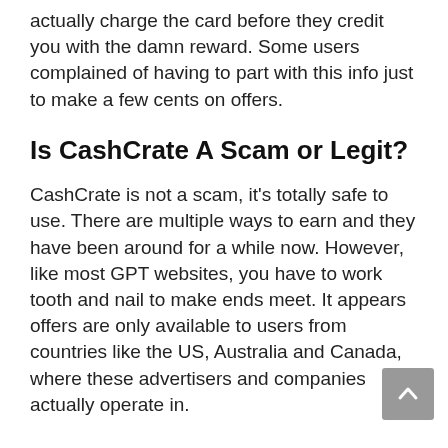actually charge the card before they credit you with the damn reward. Some users complained of having to part with this info just to make a few cents on offers.
Is CashCrate A Scam or Legit?
CashCrate is not a scam, it's totally safe to use. There are multiple ways to earn and they have been around for a while now. However, like most GPT websites, you have to work tooth and nail to make ends meet. It appears offers are only available to users from countries like the US, Australia and Canada, where these advertisers and companies actually operate in.